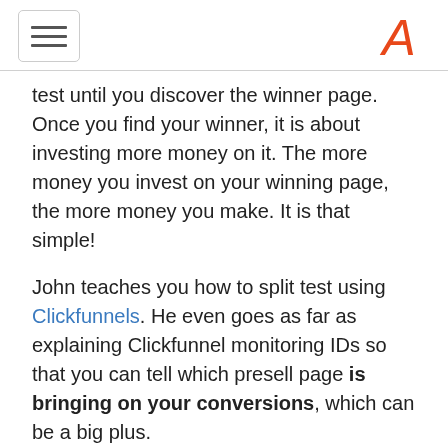[hamburger menu] [logo]
test until you discover the winner page. Once you find your winner, it is about investing more money on it. The more money you invest on your winning page, the more money you make. It is that simple!
John teaches you how to split test using Clickfunnels. He even goes as far as explaining Clickfunnel monitoring IDs so that you can tell which presell page is bringing on your conversions, which can be a big plus.
With six information-packed tutorial videos, you get to learn all the essentials of this area of the program. Total time: 0H53